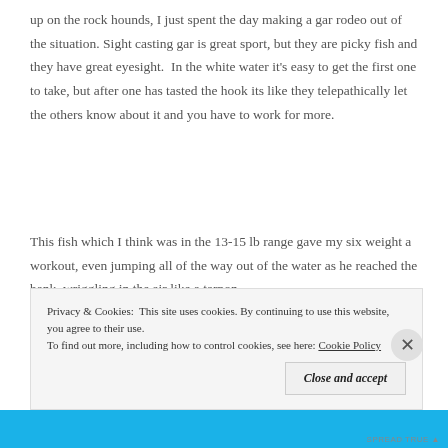up on the rock hounds, I just spent the day making a gar rodeo out of the situation. Sight casting gar is great sport, but they are picky fish and they have great eyesight.  In the white water it's easy to get the first one to take, but after one has tasted the hook its like they telepathically let the others know about it and you have to work for more.
This fish which I think was in the 13-15 lb range gave my six weight a workout, even jumping all of the way out of the water as he reached the bank, wriggling in the air like a tarpon.
Privacy & Cookies:  This site uses cookies. By continuing to use this website, you agree to their use.
To find out more, including how to control cookies, see here: Cookie Policy
Close and accept